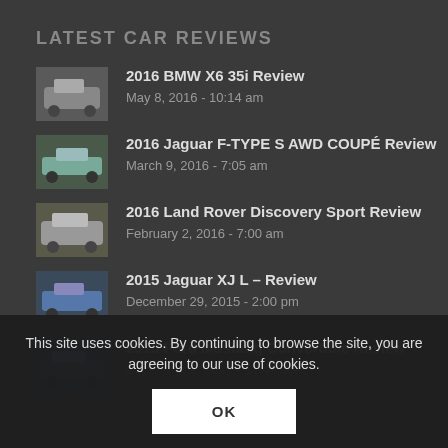LATEST CAR REVIEWS
2016 BMW X6 35i Review
May 8, 2016 - 10:14 am
2016 Jaguar F-TYPE S AWD COUPÉ Review
March 9, 2016 - 7:05 am
2016 Land Rover Discovery Sport Review
February 2, 2016 - 7:00 am
2015 Jaguar XJ L – Review
December 29, 2015 - 2:00 pm
2015 Ford Mustang Convertible Review
December 1, 2015 - 11:47 am
This site uses cookies. By continuing to browse the site, you are agreeing to our use of cookies.
OK